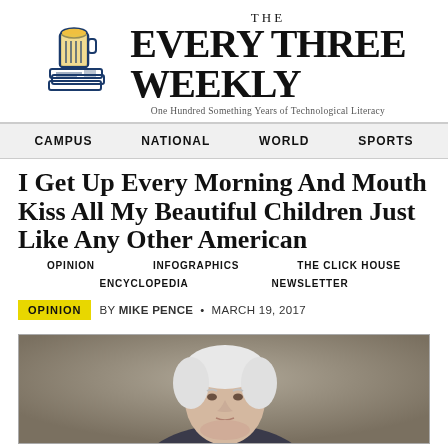[Figure (logo): The Every Three Weekly newspaper logo with a beer mug illustration and stacked newspapers. Text reads: THE EVERY THREE WEEKLY. Subtitle: One Hundred Something Years of Technological Literacy]
CAMPUS   NATIONAL   WORLD   SPORTS
OPINION   INFOGRAPHICS   THE CLICK HOUSE
ENCYCLOPEDIA   NEWSLETTER
I Get Up Every Morning And Mouth Kiss All My Beautiful Children Just Like Any Other American
OPINION   BY MIKE PENCE  •  MARCH 19, 2017
[Figure (photo): Portrait photo of Mike Pence, a white-haired older man, against a muted brownish-gray background, cropped to show head and upper shoulders.]